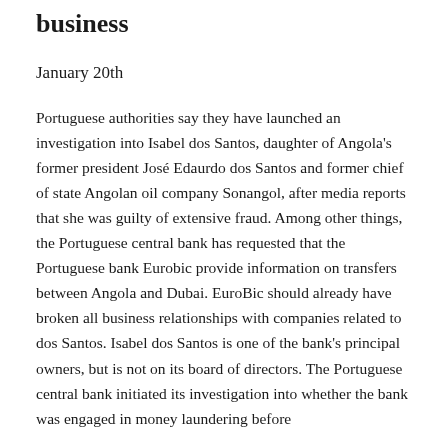business
January 20th
Portuguese authorities say they have launched an investigation into Isabel dos Santos, daughter of Angola's former president José Edaurdo dos Santos and former chief of state Angolan oil company Sonangol, after media reports that she was guilty of extensive fraud. Among other things, the Portuguese central bank has requested that the Portuguese bank Eurobic provide information on transfers between Angola and Dubai. EuroBic should already have broken all business relationships with companies related to dos Santos. Isabel dos Santos is one of the bank's principal owners, but is not on its board of directors. The Portuguese central bank initiated its investigation into whether the bank was engaged in money laundering before